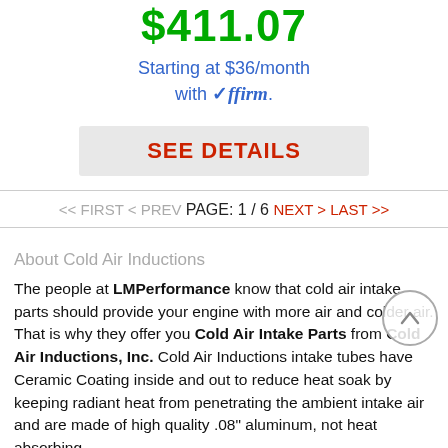$411.07
Starting at $36/month with Affirm.
SEE DETAILS
<< FIRST < PREV PAGE: 1 / 6 NEXT > LAST >>
About Cold Air Inductions
The people at LMPerformance know that cold air intake parts should provide your engine with more air and colder air. That is why they offer you Cold Air Intake Parts from Cold Air Inductions, Inc. Cold Air Inductions intake tubes have Ceramic Coating inside and out to reduce heat soak by keeping radiant heat from penetrating the ambient intake air and are made of high quality .08" aluminum, not heat absorbing